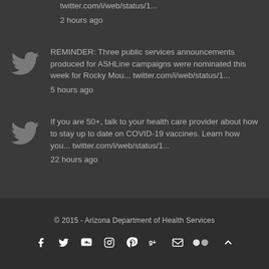twitter.com/i/web/status/1...
2 hours ago
REMINDER: Three public services announcements produced for ASHLine campaigns were nominated this week for Rocky Mou... twitter.com/i/web/status/1...
5 hours ago
If you are 50+, talk to your health care provider about how to stay up to date on COVID-19 vaccines. Learn how you... twitter.com/i/web/status/1...
22 hours ago
© 2015 - Arizona Department of Health Services